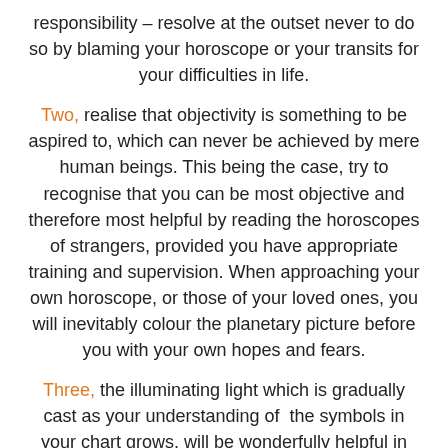responsibility – resolve at the outset never to do so by blaming your horoscope or your transits for your difficulties in life.
Two, realise that objectivity is something to be aspired to, which can never be achieved by mere human beings. This being the case, try to recognise that you can be most objective and therefore most helpful by reading the horoscopes of strangers, provided you have appropriate training and supervision. When approaching your own horoscope, or those of your loved ones, you will inevitably colour the planetary picture before you with your own hopes and fears.
Three, the illuminating light which is gradually cast as your understanding of the symbols in your chart grows, will be wonderfully helpful in shedding light on your gifts, pains,